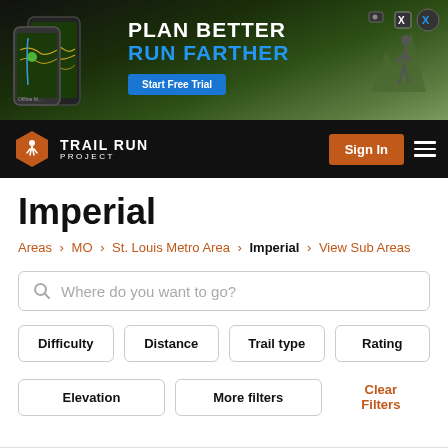[Figure (screenshot): Advertisement banner for trail running app showing phones with maps, text PLAN BETTER RUN FARTHER, Start Free Trial button, runner silhouette on mountain]
[Figure (logo): Trail Run Project logo with orange hexagon icon and white text TRAIL RUN PROJECT on black navbar, plus Sign In button and hamburger menu]
Imperial
Areas > MO > St. Louis Metro Area > Imperial > View Sub Areas
Where do you want to go?
Difficulty
Distance
Trail type
Rating
Elevation
More filters
Clear Filters